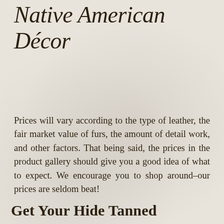Native American Décor
Prices will vary according to the type of leather, the fair market value of furs, the amount of detail work, and other factors. That being said, the prices in the product gallery should give you a good idea of what to expect. We encourage you to shop around–our prices are seldom beat!
Get Your Hide Tanned